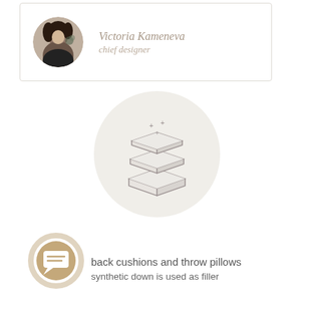[Figure (photo): Circular portrait photo of Victoria Kameneva, a woman smiling, in black and white]
Victoria Kameneva
chief designer
[Figure (illustration): Three stacked pillow/cushion layers icon with sparkle marks on a light gray circular background]
back cushions and throw pillows
synthetic down is used as filler